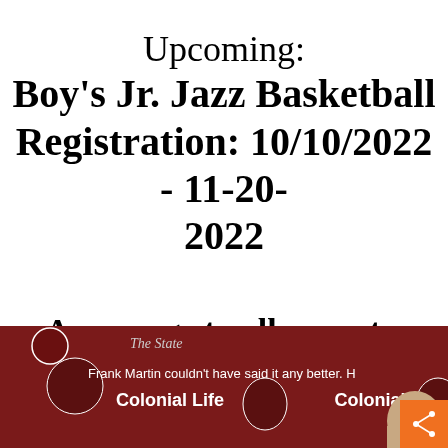Upcoming: Boy's Jr. Jazz Basketball Registration: 10/10/2022 - 11-20-2022
A message to all parents, athletes, and spectators.
[Figure (screenshot): Screenshot of a social media post featuring Frank Martin; text reads 'Frank Martin couldn't have said it any better. H...' with Colonial Life branding visible on a dark red background. An orange share button appears in the bottom right corner.]